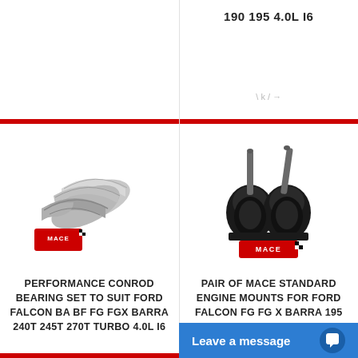190 195 4.0L I6
[Figure (photo): MACE performance conrod bearing set - several half-shell bearing pieces in metallic finish, with MACE logo below]
PERFORMANCE CONROD BEARING SET TO SUIT FORD FALCON BA BF FG FGX BARRA 240T 245T 270T TURBO 4.0L I6
[Figure (photo): Pair of MACE standard engine mounts for Ford Falcon - two black rubber engine mounts shown together, with MACE logo below]
PAIR OF MACE STANDARD ENGINE MOUNTS FOR FORD FALCON FG FG X BARRA 195 EGAS ECOLPI 270T TURBO 4.0L I6